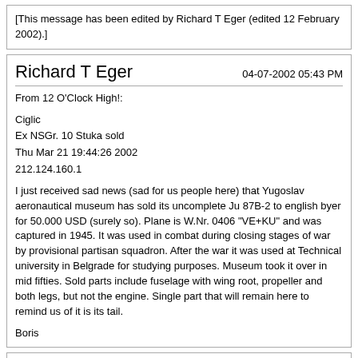[This message has been edited by Richard T Eger (edited 12 February 2002).]
Richard T Eger
04-07-2002 05:43 PM
From 12 O'Clock High!:

Ciglic
Ex NSGr. 10 Stuka sold
Thu Mar 21 19:44:26 2002
212.124.160.1

I just received sad news (sad for us people here) that Yugoslav aeronautical museum has sold its uncomplete Ju 87B-2 to english byer for 50.000 USD (surely so). Plane is W.Nr. 0406 "VE+KU" and was captured in 1945. It was used in combat during closing stages of war by provisional partisan squadron. After the war it was used at Technical university in Belgrade for studying purposes. Museum took it over in mid fifties. Sold parts include fuselage with wing root, propeller and both legs, but not the engine. Single part that will remain here to remind us of it is its tail.

Boris
Richard T Eger
02-11-2003 02:25 PM